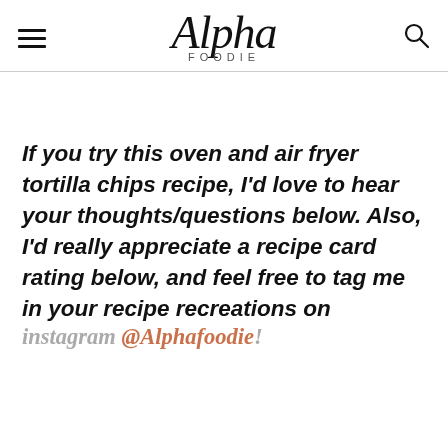Alpha Foodie
If you try this oven and air fryer tortilla chips recipe, I'd love to hear your thoughts/questions below. Also, I'd really appreciate a recipe card rating below, and feel free to tag me in your recipe recreations on instagram @Alphafoodie!